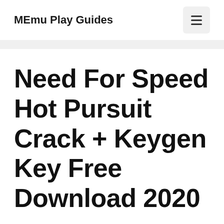MEmu Play Guides
Need For Speed Hot Pursuit Crack + Keygen Key Free Download 2020